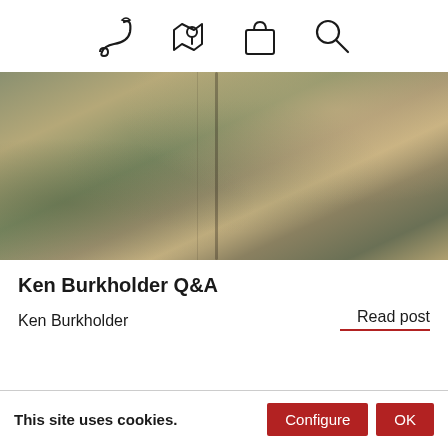[Figure (screenshot): Navigation bar with four icons: fishing hook/lure, map with location pin, shopping bag, and magnifying glass (search)]
[Figure (photo): Close-up photo of a person wearing an olive/khaki outdoor jacket with zipper visible]
Ken Burkholder Q&A
Ken Burkholder
Read post
This site uses cookies.